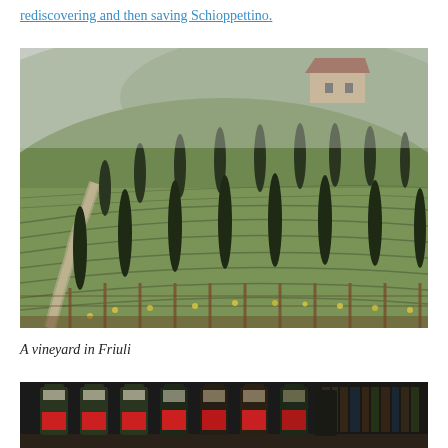rediscovering and then saving Schioppettino.
[Figure (photo): A scenic vineyard in Friuli, Italy, with rows of grapevines on rolling hills, tall cypress trees interspersed throughout, a winding path on the left, and a farmhouse visible in the misty background on a hillside.]
A vineyard in Friuli
[Figure (photo): A row of wine bottles with red labels arranged on a shelf or display, photographed in a dark setting. The bottles appear to be wine bottles from Friuli, likely containing Schioppettino.]